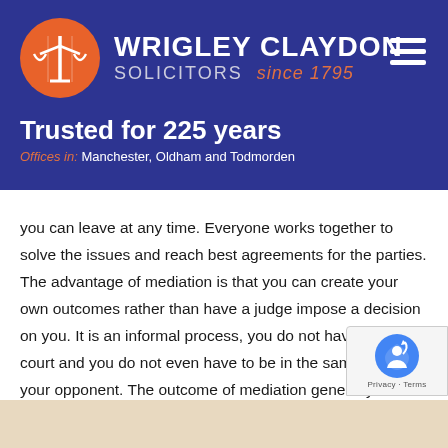[Figure (logo): Wrigley Claydon Solicitors logo with scales of justice icon in orange circle and firm name in white on dark blue background with hamburger menu]
Trusted for 225 years
Offices in: Manchester, Oldham and Todmorden
you can leave at any time. Everyone works together to solve the issues and reach best agreements for the parties. The advantage of mediation is that you can create your own outcomes rather than have a judge impose a decision on you. It is an informal process, you do not have to go to court and you do not even have to be in the same room as your opponent. The outcome of mediation generally produces more satisfaction, and is cheaper than court proceedings.